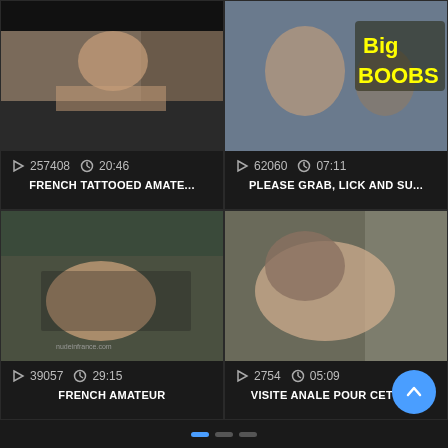[Figure (screenshot): Video thumbnail top-left: adult content video still]
257408   20:46
FRENCH TATTOOED AMATE...
[Figure (screenshot): Video thumbnail top-right: adult content video still with 'Big BOOBS' text overlay]
62060   07:11
PLEASE GRAB, LICK AND SU...
[Figure (screenshot): Video thumbnail bottom-left: adult content video still with nudeinfrance.com watermark]
39057   29:15
FRENCH AMATEUR
[Figure (screenshot): Video thumbnail bottom-right: adult content video still]
2754   05:09
VISITE ANALE POUR CETTE ...